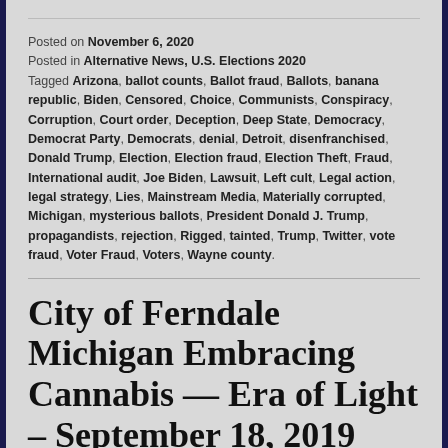Posted on November 6, 2020
Posted in Alternative News, U.S. Elections 2020
Tagged Arizona, ballot counts, Ballot fraud, Ballots, banana republic, Biden, Censored, Choice, Communists, Conspiracy, Corruption, Court order, Deception, Deep State, Democracy, Democrat Party, Democrats, denial, Detroit, disenfranchised, Donald Trump, Election, Election fraud, Election Theft, Fraud, International audit, Joe Biden, Lawsuit, Left cult, Legal action, legal strategy, Lies, Mainstream Media, Materially corrupted, Michigan, mysterious ballots, President Donald J. Trump, propagandists, rejection, Rigged, tainted, Trump, Twitter, vote fraud, Voter Fraud, Voters, Wayne county.
City of Ferndale Michigan Embracing Cannabis — Era of Light – September 18, 2019